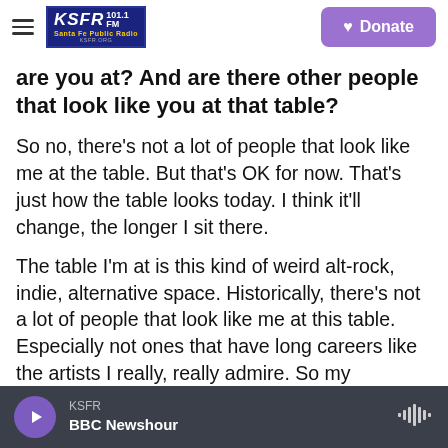KSFR 101.1 FM Santa Fe Public Radio | Donate
are you at? And are there other people that look like you at that table?
So no, there's not a lot of people that look like me at the table. But that's OK for now. That's just how the table looks today. I think it'll change, the longer I sit there.
The table I'm at is this kind of weird alt-rock, indie, alternative space. Historically, there's not a lot of people that look like me at this table. Especially not ones that have long careers like the artists I really, really admire. So my aspiration with my music, this record and beyond, is for more people like me to be
KSFR | BBC Newshour